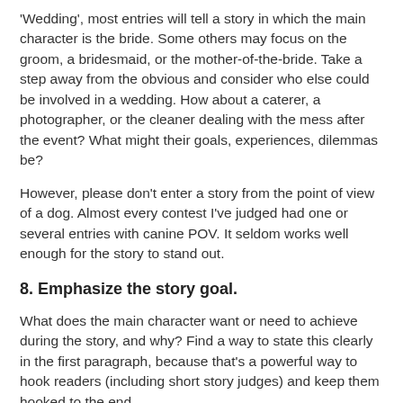'Wedding', most entries will tell a story in which the main character is the bride. Some others may focus on the groom, a bridesmaid, or the mother-of-the-bride. Take a step away from the obvious and consider who else could be involved in a wedding. How about a caterer, a photographer, or the cleaner dealing with the mess after the event? What might their goals, experiences, dilemmas be?
However, please don't enter a story from the point of view of a dog. Almost every contest I've judged had one or several entries with canine POV. It seldom works well enough for the story to stand out.
8. Emphasize the story goal.
What does the main character want or need to achieve during the story, and why? Find a way to state this clearly in the first paragraph, because that's a powerful way to hook readers (including short story judges) and keep them hooked to the end.
At the end, show whether the character has achieved the